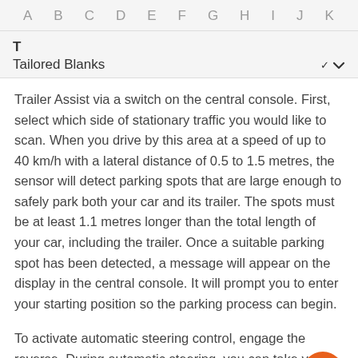A B C D E F G H I J K
T
Tailored Blanks
Trailer Assist via a switch on the central console. First, select which side of stationary traffic you would like to scan. When you drive by this area at a speed of up to 40 km/h with a lateral distance of 0.5 to 1.5 metres, the sensor will detect parking spots that are large enough to safely park both your car and its trailer. The spots must be at least 1.1 metres longer than the total length of your car, including the trailer. Once a suitable parking spot has been detected, a message will appear on the display in the central console. It will prompt you to enter your starting position so the parking process can begin.
To activate automatic steering control, engage the reverse. During automatic steering, you can take your hands off the